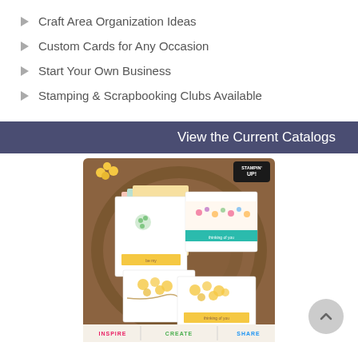Craft Area Organization Ideas
Custom Cards for Any Occasion
Start Your Own Business
Stamping & Scrapbooking Clubs Available
View the Current Catalogs
[Figure (photo): Stampin' Up! catalog cover showing handmade cards arranged on a wooden tray, with text INSPIRE | CREATE | SHARE at the bottom]